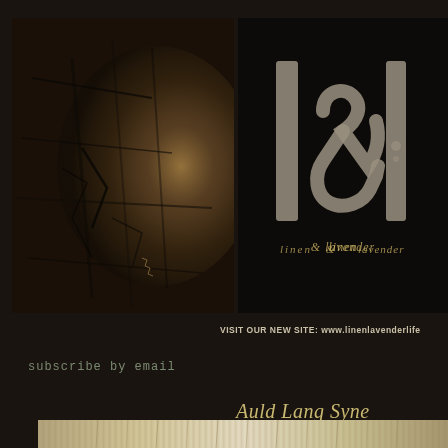[Figure (photo): Close-up photograph of a dark wooden antique clock face with textured wood grain and carved details, warm amber/brown tones]
[Figure (logo): Linen and Lavender brand logo showing stylized letters 'l & l' in weathered stone or metal texture on dark background, with cursive text 'linen & lavender' below]
VISIT OUR NEW SITE: www.linenlavenderlife
subscribe by email
Auld Lang Syne
[Figure (photo): Partial bottom image showing what appears to be crystal chandelier or decorative beaded strands in light sepia tones]